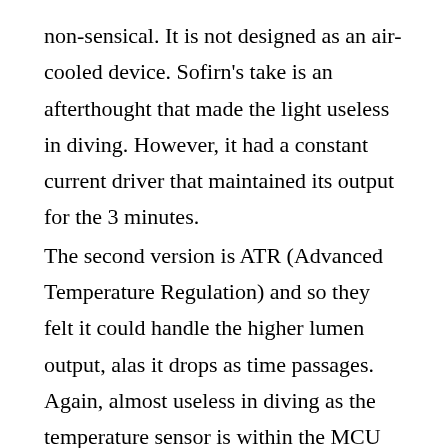non-sensical. It is not designed as an air-cooled device. Sofirn's take is an afterthought that made the light useless in diving. However, it had a constant current driver that maintained its output for the 3 minutes.
The second version is ATR (Advanced Temperature Regulation) and so they felt it could handle the higher lumen output, alas it drops as time passages. Again, almost useless in diving as the temperature sensor is within the MCU and reacts to the board's temperature and not necessarily to the environment.
I needed a weatherproof light that is reliable and